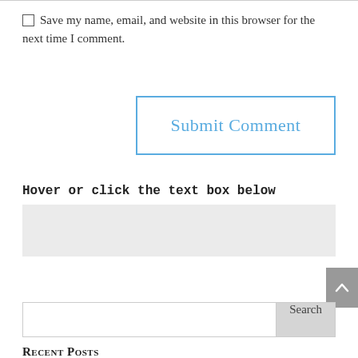Save my name, email, and website in this browser for the next time I comment.
Submit Comment
Hover or click the text box below
Search
Recent Posts